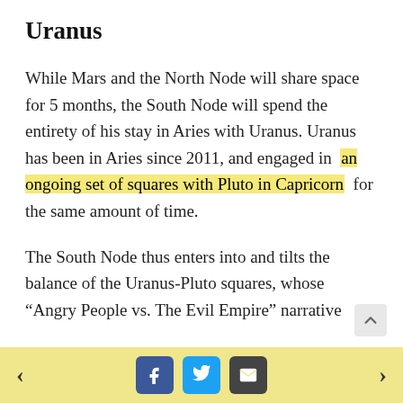Uranus
While Mars and the North Node will share space for 5 months, the South Node will spend the entirety of his stay in Aries with Uranus. Uranus has been in Aries since 2011, and engaged in an ongoing set of squares with Pluto in Capricorn for the same amount of time.
The South Node thus enters into and tilts the balance of the Uranus-Pluto squares, whose “Angry People vs. The Evil Empire” narrative
< f t ✉ >